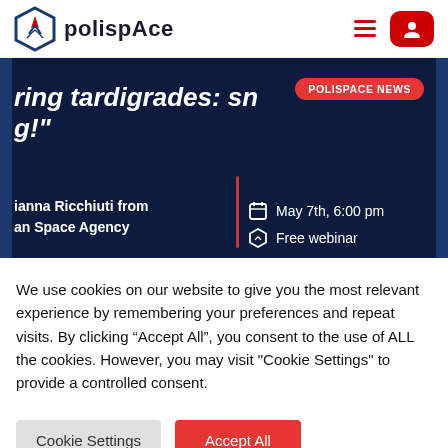polispace — navigation bar with logo, hamburger menu, and user button
[Figure (screenshot): Polispace website hero banner showing partial headline 'ring tardigrades: sn' and 'g!"', a red 'POLISPACE NEWS' badge, author 'ianna Ricchiuti from an Space Agency', date 'May 7th, 6:00 pm', and 'Free webinar' info on dark navy background]
We use cookies on our website to give you the most relevant experience by remembering your preferences and repeat visits. By clicking “Accept All”, you consent to the use of ALL the cookies. However, you may visit "Cookie Settings" to provide a controlled consent.
Cookie Settings
Accept All